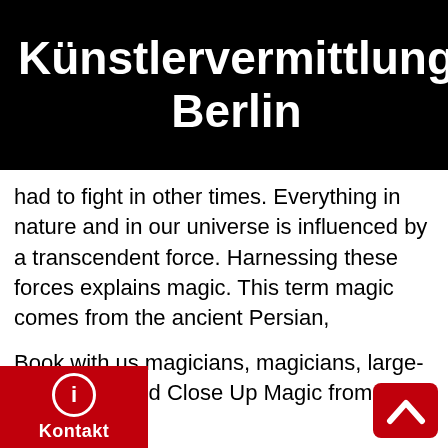Künstlervermittlung Berlin
had to fight in other times. Everything in nature and in our universe is influenced by a transcendent force. Harnessing these forces explains magic. This term magic comes from the ancient Persian,
Book with us magicians, magicians, large-illusionnen and Close Up Magic from Berlin
Book with us magicians, magicians, large-illusionnen and Close Up Magic from Frankfurt
Book with us magicians, magicians, large-illusionnen and Close Up Magic from Munich
Book with us magicians, magicians, large-illus and Close Up Magic from Cologne